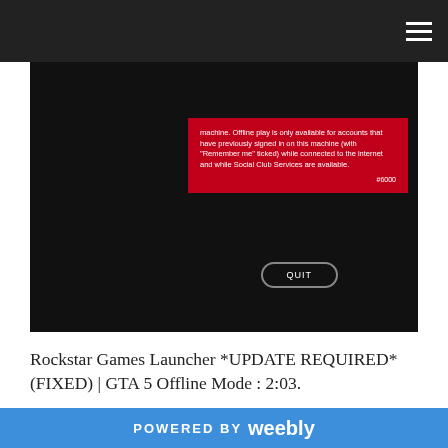[Figure (screenshot): GTA 5 / Rockstar Games Launcher error screenshot on dark background. Red error dialog box with text about offline play requiring previous sign-in, with a QUIT button below.]
Rockstar Games Launcher *UPDATE REQUIRED*(FIXED) | GTA 5 Offline Mode : 2:03.
Like previous versions, Football Manager 2020 can only be activated and played through the Steam platform.. The game can be purchased as a...
0.. buruan jika kalian belum claim silahkan menuju epic game, game yang bisa diklaim ... Re- How to fix rockstar
POWERED BY weebly